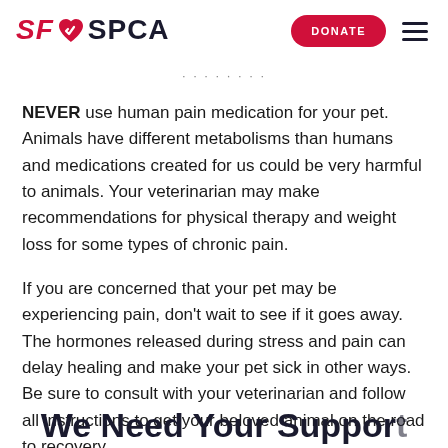SF SPCA — DONATE (button) — hamburger menu
NEVER use human pain medication for your pet. Animals have different metabolisms than humans and medications created for us could be very harmful to animals. Your veterinarian may make recommendations for physical therapy and weight loss for some types of chronic pain.
If you are concerned that your pet may be experiencing pain, don't wait to see if it goes away. The hormones released during stress and pain can delay healing and make your pet sick in other ways. Be sure to consult with your veterinarian and follow all instructions to get your beloved animal on the road to recovery.
We Need Your Support